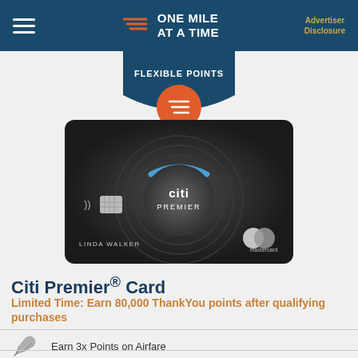ONE MILE AT A TIME | Advertiser Disclosure
[Figure (illustration): Partial blue badge/shield with text 'Flexible Points' and orange circle with lines logo icon]
[Figure (photo): Citi Premier credit card - dark graphite card with blue ring accent, citi Premier logo, LINDA WALKER cardholder name, Mastercard logo]
Citi Premier® Card
Limited Time: Earn 80,000 ThankYou points after qualifying purchases
Earn 3x Points on Airfare
Earn 3x Points on Hotels